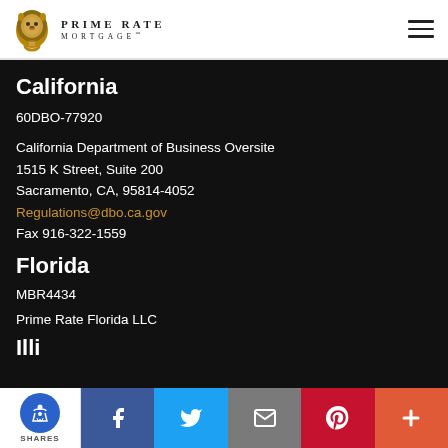[Figure (logo): Prime Rate Mortgage logo with lion head and text PRIME RATE MORTGAGE]
California
60DBO-77920
California Department of Business Oversite
1515 K Street, Suite 200
Sacramento, CA, 95814-4052
Regulations@dbo.ca.gov
Fax 916-322-1559
Florida
MBR4434
Prime Rate Florida LLC